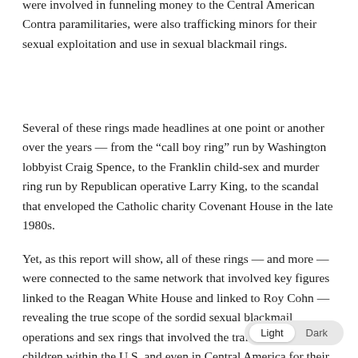were involved in funneling money to the Central American Contra paramilitaries, were also trafficking minors for their sexual exploitation and use in sexual blackmail rings.
Several of these rings made headlines at one point or another over the years — from the “call boy ring” run by Washington lobbyist Craig Spence, to the Franklin child-sex and murder ring run by Republican operative Larry King, to the scandal that enveloped the Catholic charity Covenant House in the late 1980s.
Yet, as this report will show, all of these rings — and more — were connected to the same network that involved key figures linked to the Reagan White House and linked to Roy Cohn — revealing the true scope of the sordid sexual blackmail operations and sex rings that involved the trafficking of children within the U.S. and even in Central America for their exploitation by dangerous and powerful pedophiles in the United States.